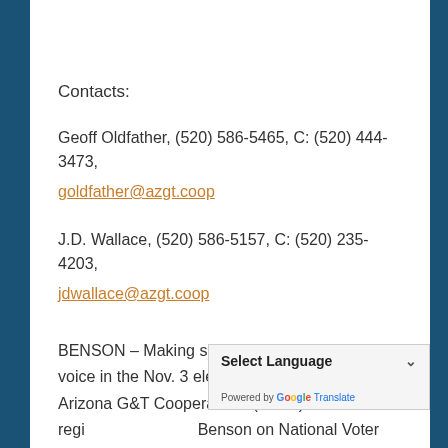Contacts:
Geoff Oldfather, (520) 586-5465, C: (520) 444-3473,
goldfather@azgt.coop
J.D. Wallace, (520) 586-5157, C: (520) 235-4203,
jdwallace@azgt.coop
BENSON – Making sure rural residents have a voice in the Nov. 3 election was a priority as Arizona G&T Cooperatives (AzGT) held a voter regi… Benson on National Voter Registration Day, September